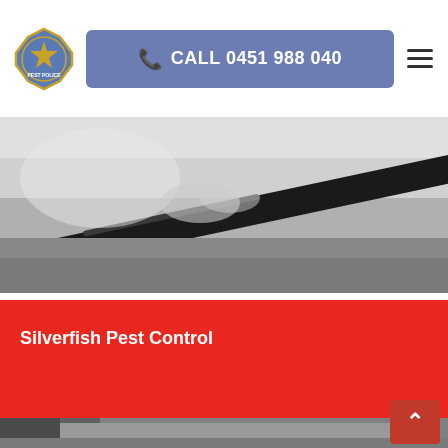[Figure (logo): Pest police badge logo with star, text PEST POLICE]
CALL 0451 988 040
[Figure (photo): Black and white close-up photo of a person's back/neck area with a dark object]
Silverfish Pest Control
[Figure (photo): Black and white partial image at bottom of page showing textured surface]